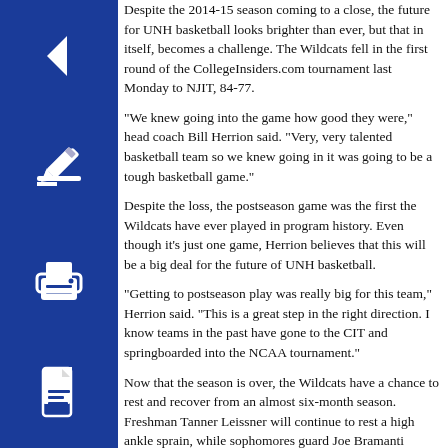[Figure (other): Blue square icon with left arrow (back navigation button)]
[Figure (other): Blue square icon with pencil/edit symbol]
[Figure (other): Blue square icon with printer symbol]
[Figure (other): Blue square icon with PDF/document symbol]
Despite the 2014-15 season coming to a close, the future for UNH basketball looks brighter than ever, but that in itself, becomes a challenge. The Wildcats fell in the first round of the CollegeInsiders.com tournament last Monday to NJIT, 84-77.
"We knew going into the game how good they were," head coach Bill Herrion said. "Very, very talented basketball team so we knew going in it was going to be a tough basketball game."
Despite the loss, the postseason game was the first the Wildcats have ever played in program history. Even though it's just one game, Herrion believes that this will be a big deal for the future of UNH basketball.
"Getting to postseason play was really big for this team," Herrion said. "This is a great step in the right direction. I know teams in the past have gone to the CIT and springboarded into the NCAA tournament."
Now that the season is over, the Wildcats have a chance to rest and recover from an almost six-month season. Freshman Tanner Leissner will continue to rest a high ankle sprain, while sophomores guard Joe Bramanti underwent surgery last Tuesday to repair cartilage in his knee. The recovery time for Bramanti is 3-6 months, depending on how his rehab goes.
"It went from August through the middle of another year," Herrion